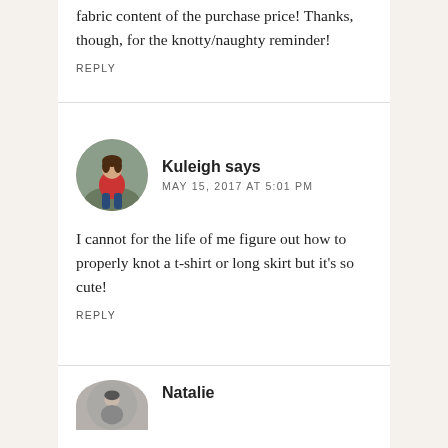fabric content of the purchase price! Thanks, though, for the knotty/naughty reminder!
REPLY
[Figure (photo): Circular avatar photo of commenter Kuleigh, showing a person in a red top sitting outdoors]
Kuleigh says
MAY 15, 2017 AT 5:01 PM
I cannot for the life of me figure out how to properly knot a t-shirt or long skirt but it’s so cute!
REPLY
[Figure (photo): Partial circular avatar photo of next commenter, shown at bottom of page, gray/muted tones]